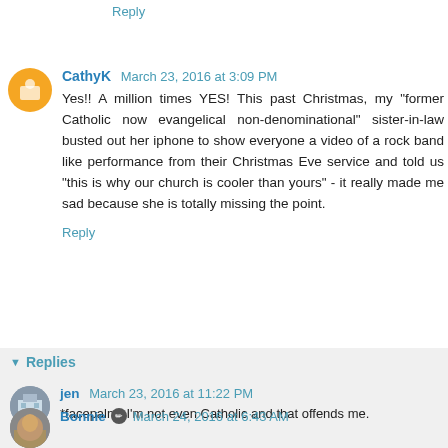Reply
CathyK March 23, 2016 at 3:09 PM
Yes!! A million times YES! This past Christmas, my "former Catholic now evangelical non-denominational" sister-in-law busted out her iphone to show everyone a video of a rock band like performance from their Christmas Eve service and told us "this is why our church is cooler than yours" - it really made me sad because she is totally missing the point.
Reply
Replies
jen March 23, 2016 at 11:22 PM
*facepalm* I'm not even Catholic and that offends me.
Bonnie March 24, 2016 at 6:43 AM